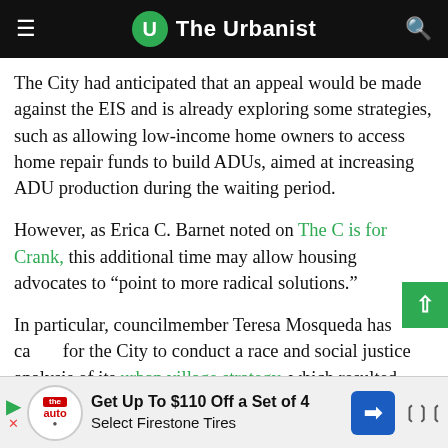The Urbanist
The City had anticipated that an appeal would be made against the EIS and is already exploring some strategies, such as allowing low-income home owners to access home repair funds to build ADUs, aimed at increasing ADU production during the waiting period.
However, as Erica C. Barnet noted on The C is for Crank, this additional time may allow housing advocates to “point to more radical solutions.”
In particular, councilmember Teresa Mosqueda has called for the City to conduct a race and social justice analysis of its urban village strategy, which resulted from the neighborhood planning process and the need to accommodate...